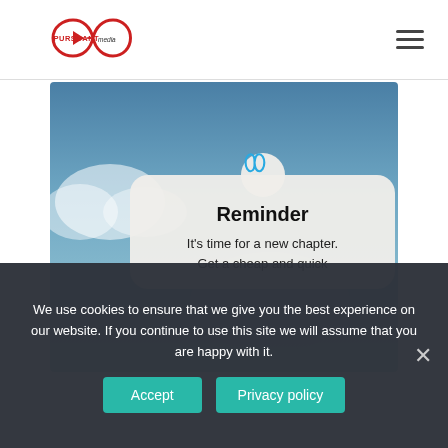[Figure (logo): Pursuant Media logo — infinity loop shape with 'PURSUANT' in red and 'media' text]
[Figure (photo): Photograph of a blue-grey sky with partial white cloud, used as background for a reminder notification card. The card reads 'Reminder' in bold, followed by 'It’s time for a new chapter. Get a cheap and quick' (text cut off). Card has a cyan infinity-loop icon at top.]
We use cookies to ensure that we give you the best experience on our website. If you continue to use this site we will assume that you are happy with it.
Accept
Privacy policy